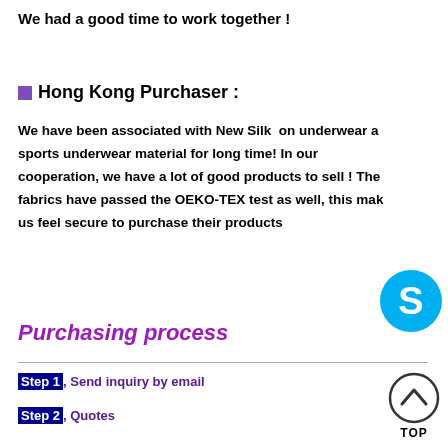We had a good time to work together !
Hong Kong Purchaser :
We have been associated with New Silk on underwear and sports underwear material for long time! In our cooperation, we have a lot of good products to sell ! The fabrics have passed the OEKO-TEX test as well, this makes us feel secure to purchase their products
Purchasing process
[Figure (logo): Skype logo icon - cyan circle with white S]
Step 1, Send inquiry by email
Step 2, Quotes
[Figure (other): TOP button - circle with upward chevron arrow and TOP label]